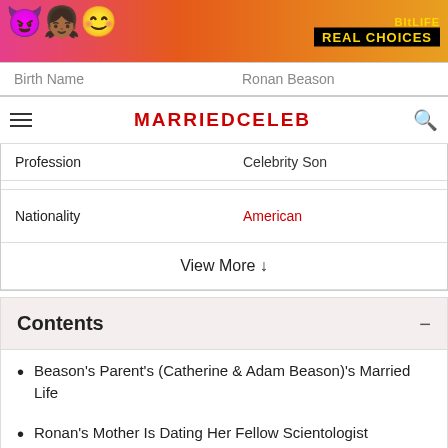[Figure (illustration): Colorful advertisement banner with emojis and text reading REAL CHOICES, BitLife branding]
MARRIEDCELEB
| Field | Value |
| --- | --- |
| Birth Name | Ronan Beason |
| Profession | Celebrity Son |
| Nationality | American |
|  | View More ↓ |
Contents
Beason's Parent's (Catherine & Adam Beason)'s Married Life
Ronan's Mother Is Dating Her Fellow Scientologist
Beason's Mother's Net Worth – $15 Million
ADVERTISEMENT